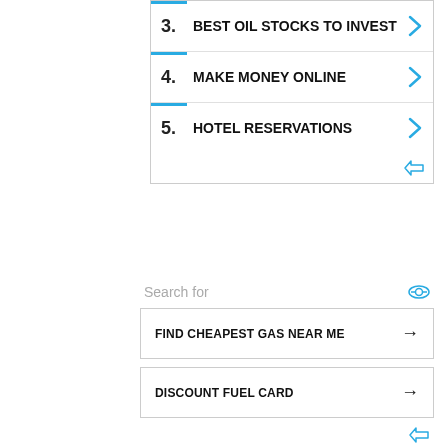3. BEST OIL STOCKS TO INVEST
4. MAKE MONEY ONLINE
5. HOTEL RESERVATIONS
Search for
FIND CHEAPEST GAS NEAR ME
DISCOUNT FUEL CARD